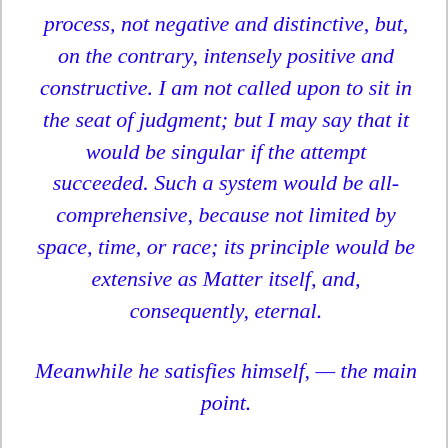process, not negative and distinctive, but, on the contrary, intensely positive and constructive. I am not called upon to sit in the seat of judgment; but I may say that it would be singular if the attempt succeeded. Such a system would be all-comprehensive, because not limited by space, time, or race; its principle would be extensive as Matter itself, and, consequently, eternal.
Meanwhile he satisfies himself, — the main point.